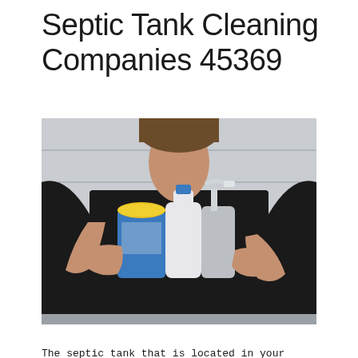Septic Tank Cleaning Companies 45369
[Figure (photo): A person in a black long-sleeve shirt holding multiple cleaning product bottles and containers including a yellow-lidded canister, a blue bottle, a white bottle, and a clear pump dispenser, against a light grey paneled wall background.]
The septic tank that is located in your house is one of the most essential features. They treat the wastewater when it drains out of